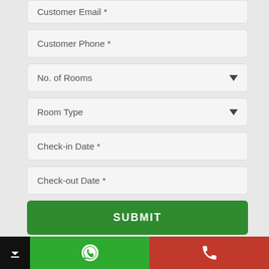Customer Email *
Customer Phone *
No. of Rooms
Room Type
Check-in Date *
Check-out Date *
SUBMIT
CALL NOW
[Figure (screenshot): Bottom navigation bar with black download section, green WhatsApp section, and red phone call section]